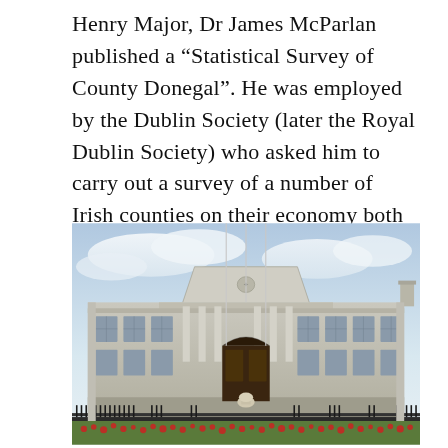Henry Major, Dr James McParlan published a “Statistical Survey of County Donegal”. He was employed by the Dublin Society (later the Royal Dublin Society) who asked him to carry out a survey of a number of Irish counties on their economy both urban and rural and to make suggestions on how to improve it.
[Figure (photo): Front facade of the Royal Dublin Society building, a large neoclassical stone building with a central triangular pediment, tall flagpoles in front, ornate entrance, symmetrical windows, and flower beds with red flowers along the front fence.]